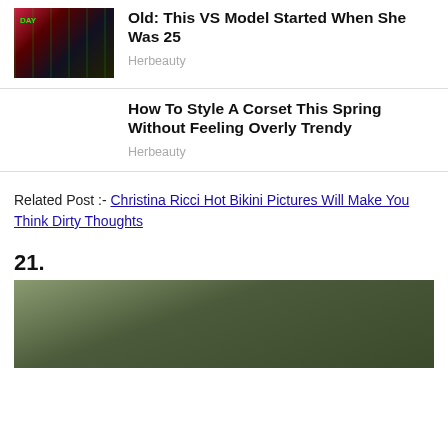[Figure (photo): Photo of a woman in a black outfit on a stage with neon signs in the background]
Old: This VS Model Started When She Was 25
Herbeauty
How To Style A Corset This Spring Without Feeling Overly Trendy
Herbeauty
Related Post :- Christina Ricci Hot Bikini Pictures Will Make You Think Dirty Thoughts
21.
[Figure (photo): Partial photo showing a person outdoors with green foliage background]